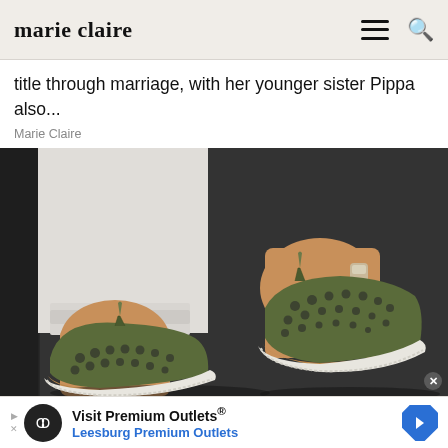marie claire
title through marriage, with her younger sister Pippa also...
Marie Claire
[Figure (photo): Close-up street style photo of a person wearing white jeans and olive green suede espadrille sneakers with perforated detailing, tassel laces, and cork/white soles, shot on a dark pavement background.]
Visit Premium Outlets® Leesburg Premium Outlets